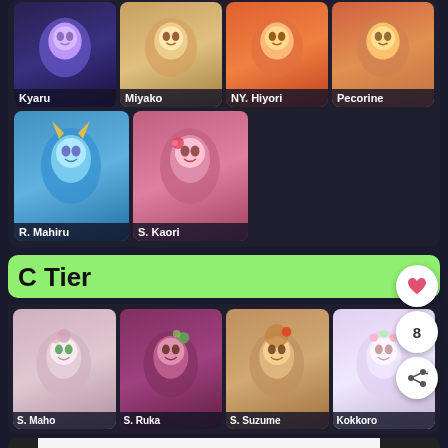[Figure (screenshot): Tier list screenshot showing anime game characters. Top section (dark background) shows B/D tier characters: Kyaru, Miyako, NY. Hiyori, Pecorine in first row; R. Mahiru and S. Kaori in second row. Middle section shows C Tier label on green background. Bottom section shows C tier characters: S. Maho, S. Ruka, S. Suzume, Kokkoro. UI elements include heart/share FABs and a bottom navigation bar.]